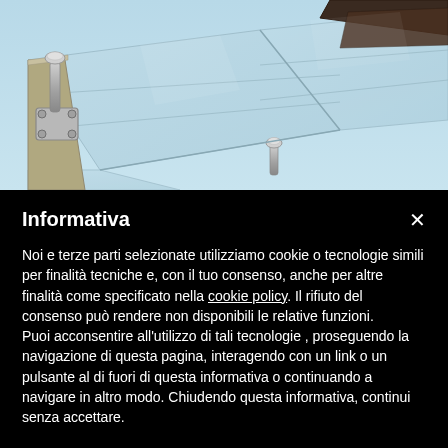[Figure (engineering-diagram): 3D CAD illustration of a glazing/curtain wall system showing glass panels with metal bolt/point-fixed fittings and dark aluminum framing bars viewed from an angle. Bolts and circular rosette fittings are visible on the glass surface.]
Informativa
Noi e terze parti selezionate utilizziamo cookie o tecnologie simili per finalità tecniche e, con il tuo consenso, anche per altre finalità come specificato nella cookie policy. Il rifiuto del consenso può rendere non disponibili le relative funzioni.
Puoi acconsentire all'utilizzo di tali tecnologie , proseguendo la navigazione di questa pagina, interagendo con un link o un pulsante al di fuori di questa informativa o continuando a navigare in altro modo. Chiudendo questa informativa, continui senza accettare.